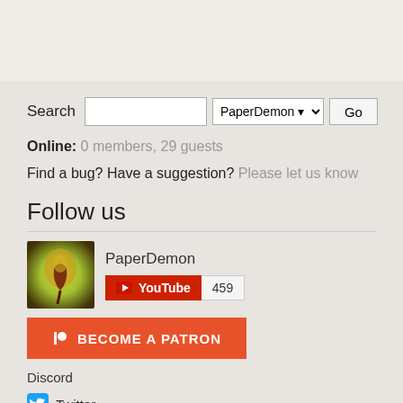Search [input] PaperDemon [dropdown] Go
Online: 0 members, 29 guests
Find a bug? Have a suggestion? Please let us know
Follow us
[Figure (screenshot): PaperDemon YouTube channel with avatar showing stylized leaf/flower art, channel name 'PaperDemon', YouTube subscribe button with subscriber count 459]
[Figure (screenshot): Patreon button: BECOME A PATRON in orange/red]
Discord
Twitter
Facebook
[Figure (illustration): PaperDemon Media logo tile with golden/orange background]